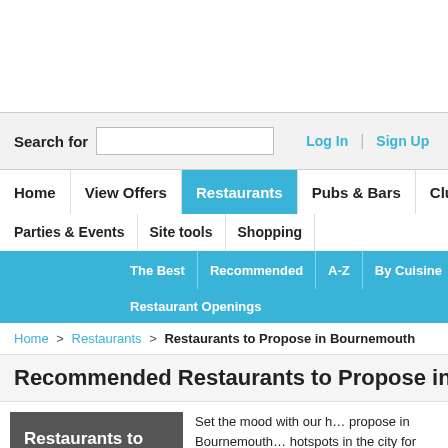Search for | Log In | Sign Up
Home | View Offers | Restaurants | Pubs & Bars | Clubs | Cinema | Parties & Events | Site tools | Shopping
The Best | Recommended | A-Z | By Cuisine | By Tube | By... | Restaurant Openings
Home > Restaurants > Restaurants to Propose in Bournemouth
Recommended Restaurants to Propose in Bournemouth
Restaurants to Propose in Bournemouth
Set the mood with our h... propose in Bournemouth... hotspots in the city for ro... any plans, consult our s... propose in Bournemouth...